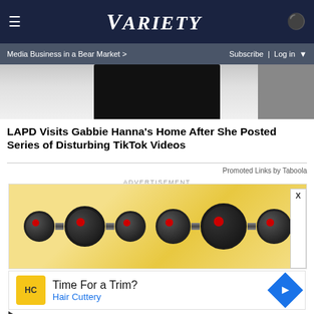VARIETY — Media Business in a Bear Market > | Subscribe | Log in
[Figure (photo): Partial hero image showing dark clothing/jacket against light gray background]
LAPD Visits Gabbie Hanna's Home After She Posted Series of Disturbing TikTok Videos
Promoted Links by Taboola
ADVERTISEMENT
[Figure (photo): Advertisement showing adjustable dumbbells (Bowflex style) on yellow background]
[Figure (other): Advertisement for Hair Cuttery: 'Time For a Trim? Hair Cuttery' with yellow HC logo and blue arrow icon]